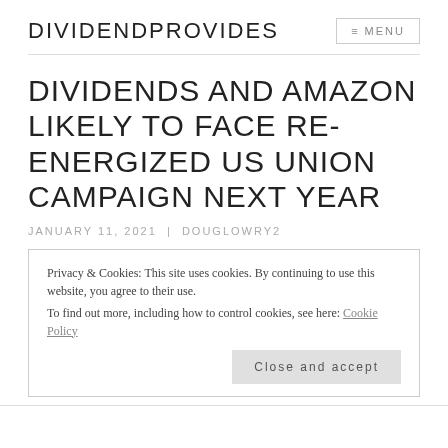DIVIDENDPROVIDES
DIVIDENDS AND AMAZON LIKELY TO FACE RE-ENERGIZED US UNION CAMPAIGN NEXT YEAR
JANUARY 11, 2021  |  DOUGLOWRY2
Privacy & Cookies: This site uses cookies. By continuing to use this website, you agree to their use.
To find out more, including how to control cookies, see here: Cookie Policy
Close and accept